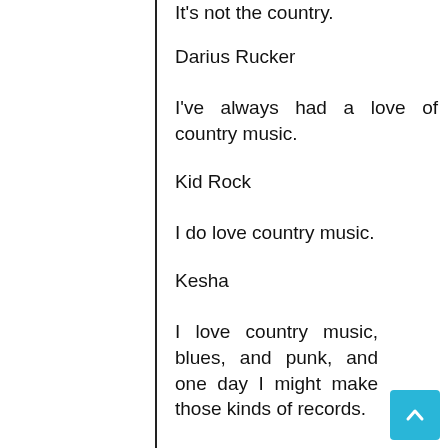It's not the country.
Darius Rucker
I've always had a love of country music.
Kid Rock
I do love country music.
Kesha
I love country music, blues, and punk, and one day I might make those kinds of records.